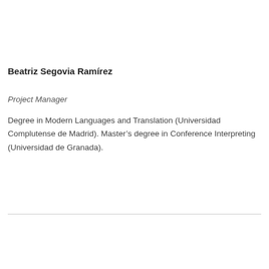Beatriz Segovia Ramírez
Project Manager
Degree in Modern Languages and Translation (Universidad Complutense de Madrid). Master's degree in Conference Interpreting (Universidad de Granada).